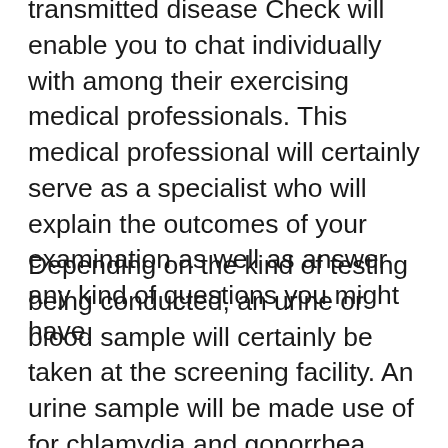transmitted disease Check will enable you to chat individually with among their exercising medical professionals. This medical professional will certainly serve as a specialist who will explain the outcomes of your examination as well as answer any kind of questions you might have.
Depending on the kind of testing being conducted, an urine or blood sample will certainly be taken at the screening facility. An urine sample will be made use of for chlamydia and gonorrhea screening, while blood examples are required for HIV, herpes, liver disease, as well as syphilis testing. You will certainly not need to load out any documentation or respond to any questions